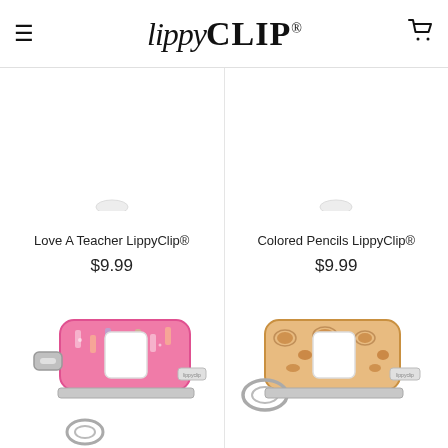lippyCLIP® — hamburger menu and cart icon
Love A Teacher LippyClip®
$9.99
Colored Pencils LippyClip®
$9.99
[Figure (photo): LippyClip lip balm holder in pink floral/teacher pattern, partially visible at bottom left]
[Figure (photo): LippyClip lip balm holder in tan/brown leopard pattern, partially visible at bottom right]
FREE SHIPPING